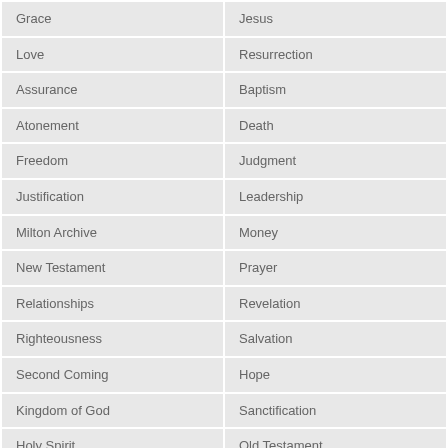| Grace | Jesus |
| Love | Resurrection |
| Assurance | Baptism |
| Atonement | Death |
| Freedom | Judgment |
| Justification | Leadership |
| Milton Archive | Money |
| New Testament | Prayer |
| Relationships | Revelation |
| Righteousness | Salvation |
| Second Coming | Hope |
| Kingdom of God | Sanctification |
| Holy Spirit | Old Testament |
| Encouragement | Identity |